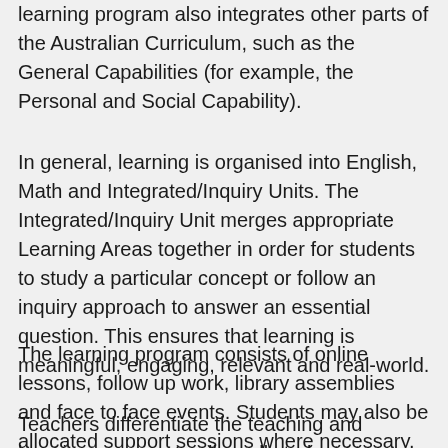learning program also integrates other parts of the Australian Curriculum, such as the General Capabilities (for example, the Personal and Social Capability).
In general, learning is organised into English, Math and Integrated/Inquiry Units. The Integrated/Inquiry Unit merges appropriate Learning Areas together in order for students to study a particular concept or follow an inquiry approach to answer an essential question. This ensures that learning is meaningful, engaging, relevant and real-world.
The learning program consists of online lessons, follow up work, library assemblies and face to face events. Students may also be allocated support sessions where necessary.
Teachers differentiate the teaching and learning program to allow all students to access the